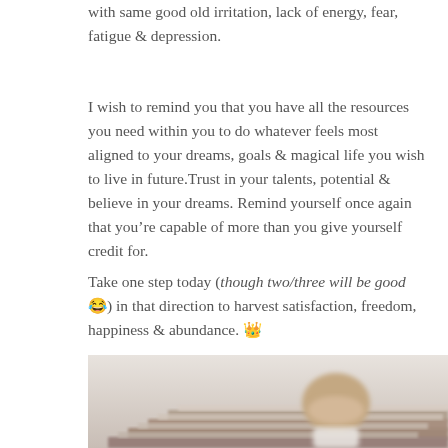with same good old irritation, lack of energy, fear, fatigue & depression.
I wish to remind you that you have all the resources you need within you to do whatever feels most aligned to your dreams, goals & magical life you wish to live in future.Trust in your talents, potential & believe in your dreams. Remind yourself once again that you’re capable of more than you give yourself credit for.
Take one step today (though two/three will be good 😂) in that direction to harvest satisfaction, freedom, happiness & abundance. 👑
[Figure (photo): A child viewed from behind sitting in front of wooden stairs, blurred background, warm tones]